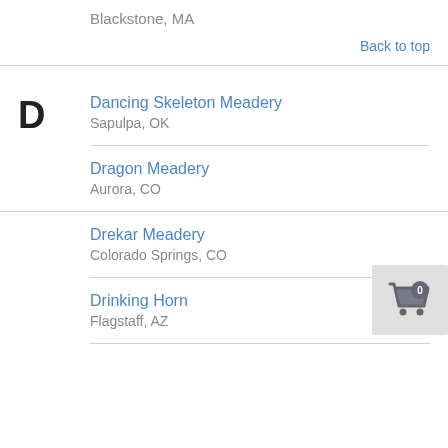Blackstone, MA
Back to top
D
Dancing Skeleton Meadery
Sapulpa, OK
Dragon Meadery
Aurora, CO
[Figure (illustration): Shopping cart icon with badge showing 0]
Drekar Meadery
Colorado Springs, CO
Drinking Horn
Flagstaff, AZ